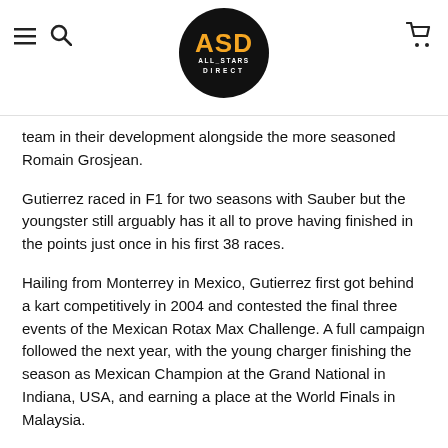ASD ALL_STARS DIRECT
team in their development alongside the more seasoned Romain Grosjean.
Gutierrez raced in F1 for two seasons with Sauber but the youngster still arguably has it all to prove having finished in the points just once in his first 38 races.
Hailing from Monterrey in Mexico, Gutierrez first got behind a kart competitively in 2004 and contested the final three events of the Mexican Rotax Max Challenge. A full campaign followed the next year, with the young charger finishing the season as Mexican Champion at the Grand National in Indiana, USA, and earning a place at the World Finals in Malaysia.